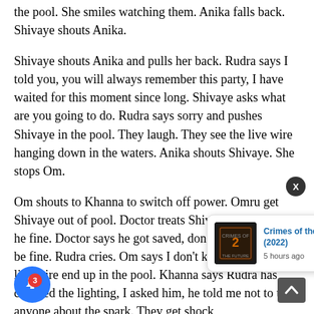the pool. She smiles watching them. Anika falls back. Shivaye shouts Anika.
Shivaye shouts Anika and pulls her back. Rudra says I told you, you will always remember this party, I have waited for this moment since long. Shivaye asks what are you going to do. Rudra says sorry and pushes Shivaye in the pool. They laugh. They see the live wire hanging down in the waters. Anika shouts Shivaye. She stops Om.
Om shouts to Khanna to switch off power. Omru get Shivaye out of pool. Doctor treats Shivaye. Omru ask is he fine. Doctor says he got saved, don't worry, he will be fine. Rudra cries. Om says I don't know how did a live wire end up in the pool. Khanna says Rudra has checked the lighting, I asked him, he told me not to tell anyone about the spark. They get shock
ays I can't responsible for your state, its my fault, I promise you, I make you the same one again, trust me. Anika says Na
[Figure (screenshot): Notification popup showing movie 'Crimes of the Future (2022)' with a dark movie poster thumbnail and '5 hours ago' timestamp, with a blue hyperlink title]